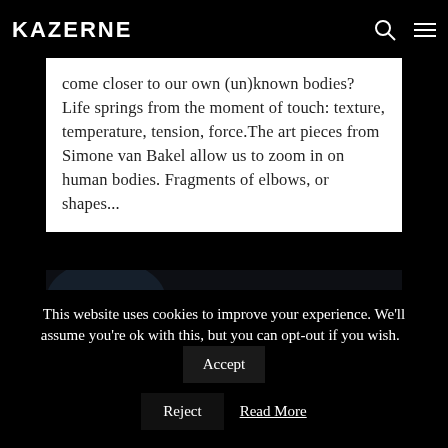KASERNE
come closer to our own (un)known bodies? Life springs from the moment of touch: texture, temperature, tension, force. The art pieces from Simone van Bakel allow us to zoom in on human bodies. Fragments of elbows, or shapes...
[Figure (photo): Dark photograph showing colorful plant-like sculptural objects including flowers and stems against a dark background]
This website uses cookies to improve your experience. We'll assume you're ok with this, but you can opt-out if you wish. Accept Reject Read More